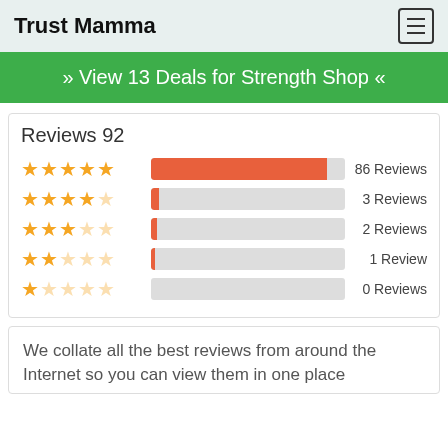Trust Mamma
» View 13 Deals for Strength Shop «
Reviews 92
[Figure (bar-chart): Reviews breakdown by star rating]
We collate all the best reviews from around the Internet so you can view them in one place